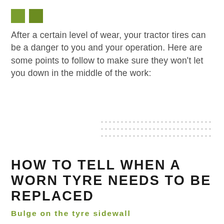[Figure (other): Two olive/green squares used as decorative header elements]
After a certain level of wear, your tractor tires can be a danger to you and your operation. Here are some points to follow to make sure they won't let you down in the middle of the work:
[Figure (other): Three rows of dotted lines as decorative separator]
HOW TO TELL WHEN A WORN TYRE NEEDS TO BE REPLACED
Bulge on the tyre sidewall